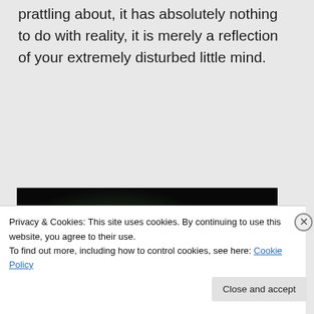prattling about, it has absolutely nothing to do with reality, it is merely a reflection of your extremely disturbed little mind.
[Figure (photo): Dark, dimly lit scene showing a person's face partially illuminated with greenish light against a very dark background]
Log in to Reply
Privacy & Cookies: This site uses cookies. By continuing to use this website, you agree to their use.
To find out more, including how to control cookies, see here: Cookie Policy